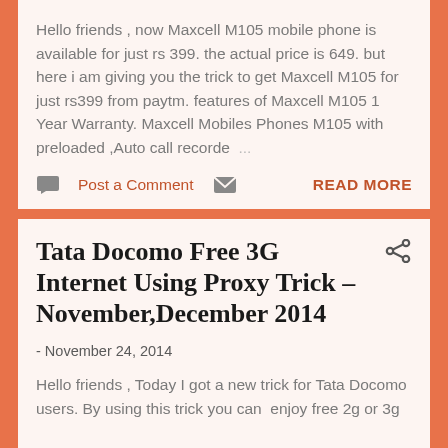Hello friends , now Maxcell M105 mobile phone is available for just rs 399. the actual price is 649. but here i am giving you the trick to get Maxcell M105 for just rs399 from paytm. features of Maxcell M105 1 Year Warranty. Maxcell Mobiles Phones M105 with preloaded ,Auto call recorde...
Post a Comment   READ MORE
Tata Docomo Free 3G Internet Using Proxy Trick – November,December 2014
- November 24, 2014
Hello friends , Today I got a new trick for Tata Docomo users. By using this trick you can  enjoy free 2g or 3g